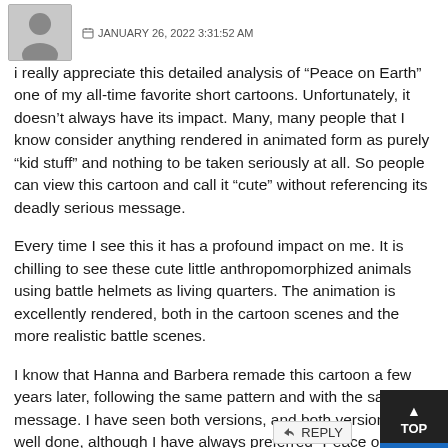JANUARY 26, 2022 3:31:52 AM
i really appreciate this detailed analysis of “Peace on Earth” one of my all-time favorite short cartoons. Unfortunately, it doesn’t always have its impact. Many, many people that I know consider anything rendered in animated form as purely “kid stuff” and nothing to be taken seriously at all. So people can view this cartoon and call it “cute” without referencing its deadly serious message.
Every time I see this it has a profound impact on me. It is chilling to see these cute little anthropomorphized animals using battle helmets as living quarters. The animation is excellently rendered, both in the cartoon scenes and the more realistic battle scenes.
I know that Hanna and Barbera remade this cartoon a few years later, following the same pattern and with the same message. I have seen both versions, and both versions are well done, although I have always preferred “Peace on Earth.” Not only timely for Christmas, but for any time.